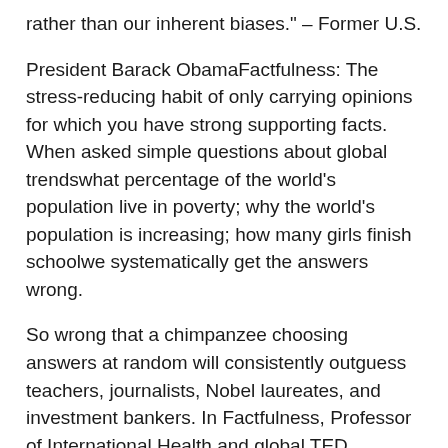rather than our inherent biases." – Former U.S.
President Barack ObamaFactfulness: The stress-reducing habit of only carrying opinions for which you have strong supporting facts. When asked simple questions about global trendswhat percentage of the world's population live in poverty; why the world's population is increasing; how many girls finish schoolwe systematically get the answers wrong.
So wrong that a chimpanzee choosing answers at random will consistently outguess teachers, journalists, Nobel laureates, and investment bankers. In Factfulness, Professor of International Health and global TED phenomenon Hans Rosling, together with his two long-time collaborators, Anna and Ola, offers a radical new explanation of why this happens.